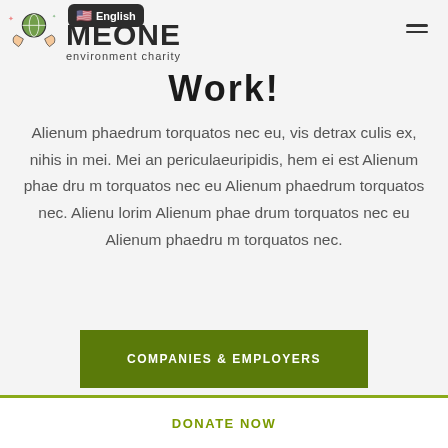English | [logo: MEONE environment charity] | [hamburger menu]
Work!
Alienum phaedrum torquatos nec eu, vis detrax culis ex, nihis in mei. Mei an periculaeuripidis, hem ei est Alienum phae dru m torquatos nec eu Alienum phaedrum torquatos nec. Alienu lorim Alienum phae drum torquatos nec eu Alienum phaedru m torquatos nec.
COMPANIES & EMPLOYERS
DONATE NOW